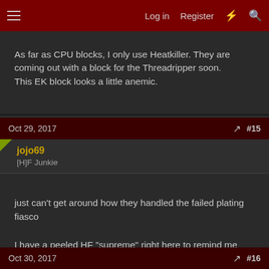Log in  Register  #  Search
As far as CPU blocks, I only use Heatkiller. They are coming out with a block for the Threadripper soon.
This EK block looks a little anemic.
Oct 29, 2017  #15
jojo69
[H]F Junkie
just can't get around how they handled the failed plating fiasco

I have a peeled HF "supreme" right here to remind me

horrible company, avoid
Oct 30, 2017  #16